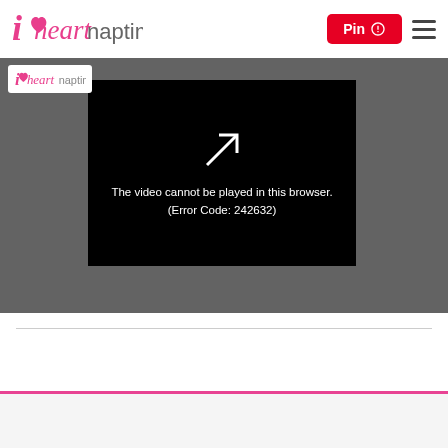i heart naptime — header with Pin button and hamburger menu
[Figure (screenshot): Video player showing error message: The video cannot be played in this browser. (Error Code: 242632) on a dark background with a play button icon. A small i heart naptime logo appears in the upper left of the video area.]
The video cannot be played in this browser. (Error Code: 242632)